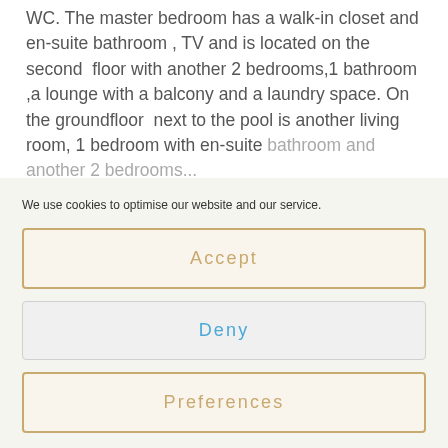WC. The master bedroom has a walk-in closet and en-suite bathroom , TV and is located on the second  floor with another 2 bedrooms,1 bathroom ,a lounge with a balcony and a laundry space. On the groundfloor  next to the pool is another living room, 1 bedroom with en-suite bathroom and another 2 bedrooms...
We use cookies to optimise our website and our service.
Accept
Deny
Preferences
Cookie Policy